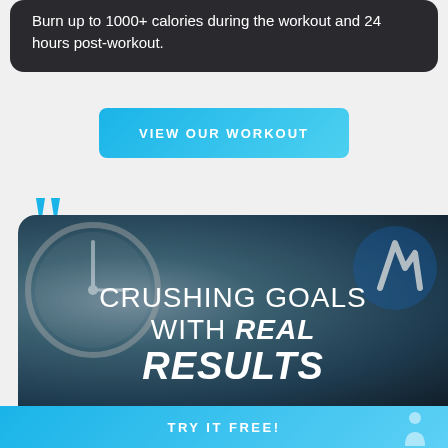Burn up to 1000+ calories during the workout and 24 hours post-workout.
VIEW OUR WORKOUT
[Figure (photo): Background photo of fitness equipment (weights/timer) with gym imagery, overlaid with bold text reading CRUSHING GOALS WITH REAL RESULTS]
CRUSHING GOALS WITH REAL RESULTS
TRY IT FREE!